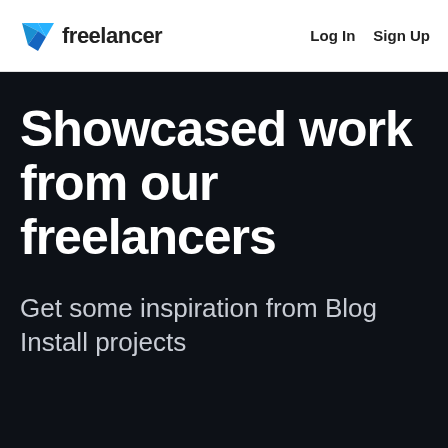[Figure (logo): Freelancer logo — a blue geometric arrow/kite shape followed by the text 'freelancer' in bold dark font]
Log In   Sign Up
Showcased work from our freelancers
Get some inspiration from Blog Install projects